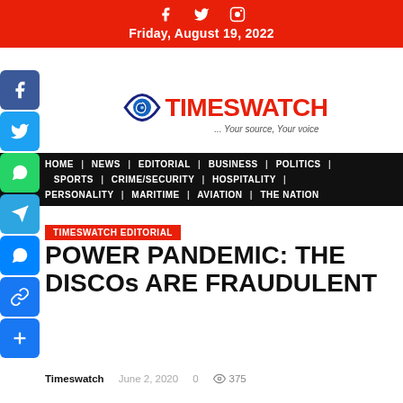Friday, August 19, 2022
[Figure (logo): Timeswatch logo with eye graphic and tagline '... Your source, Your voice']
HOME | NEWS | EDITORIAL | BUSINESS | POLITICS | SPORTS | CRIME/SECURITY | HOSPITALITY | PERSONALITY | MARITIME | AVIATION | THE NATION
TIMESWATCH EDITORIAL
POWER PANDEMIC: THE DISCOs ARE FRAUDULENT
Timeswatch   June 2, 2020   0   375